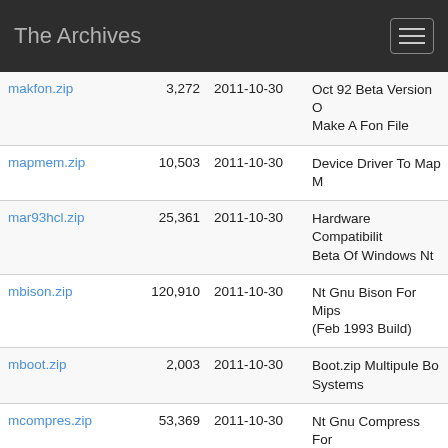The Archives
| Name | Size | Date | Description |
| --- | --- | --- | --- |
| makfon.zip | 3,272 | 2011-10-30 | Oct 92 Beta Version Of Make A Fon File |
| mapmem.zip | 10,503 | 2011-10-30 | Device Driver To Map M |
| mar93hcl.zip | 25,361 | 2011-10-30 | Hardware Compatibility Beta Of Windows Nt |
| mbison.zip | 120,910 | 2011-10-30 | Nt Gnu Bison For Mips (Feb 1993 Build) |
| mboot.zip | 2,003 | 2011-10-30 | Boot.zip Multipule Boot Systems |
| mcompres.zip | 53,369 | 2011-10-30 | Nt Gnu Compress For 1993 Build) |
| mdiff.zip | 171,057 | 2011-10-30 | Nt Gnu Diff For Mips R (Feb 1993 Build) |
| mdipad.zip | 23,436 | 2011-10-30 | Mdi Template |
| medit1.zip | 46,743 | 2011-10-30 | Programmer's Editor W For Nt |